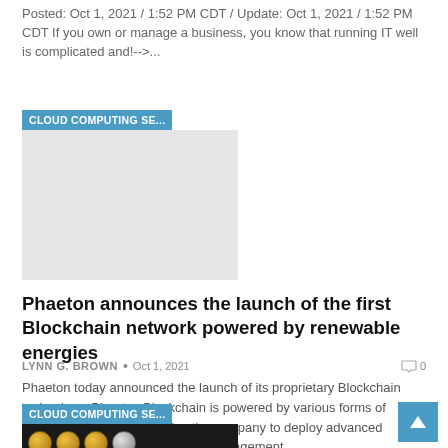Posted: Oct 1, 2021 / 1:52 PM CDT / Update: Oct 1, 2021 / 1:52 PM CDT If you own or manage a business, you know that running IT well is complicated and!-->...
[Figure (photo): Image placeholder with label CLOUD COMPUTING SE... on a light grey background]
Phaeton announces the launch of the first Blockchain network powered by renewable energies
LYNN G. BROWN • Oct 1, 2021   0
Phaeton today announced the launch of its proprietary Blockchain technology. Phaeton Blockchain is powered by various forms of renewable energy. It enables the company to deploy advanced solutions in the areas of identity management,...
[Figure (photo): Image with label CLOUD COMPUTING SE... over a dark background with gold coins visible at the bottom]
[Figure (other): Back to top arrow button in blue]